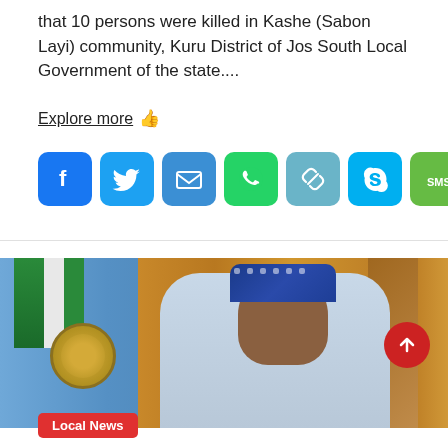that 10 persons were killed in Kashe (Sabon Layi) community, Kuru District of Jos South Local Government of the state....
Explore more
[Figure (infographic): Social media sharing buttons: Facebook, Twitter, Email, WhatsApp, Copy link, Skype, SMS]
[Figure (photo): A Nigerian official, presumably President Buhari, seated in a blue chair wearing a blue traditional cap and light blue traditional attire, with Nigerian flags and orange curtains in the background.]
Local News